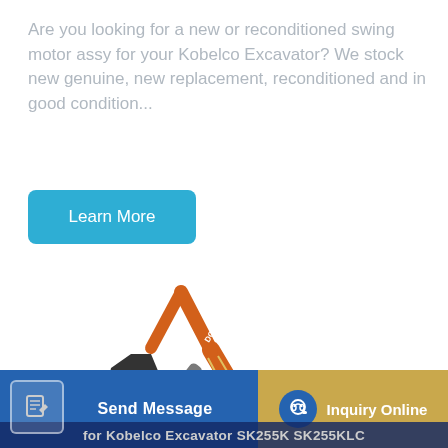Are you looking for a new or reconditioned swing motor assy for your Kobelco Excavator? We stock new genuine, new replacement, reconditioned and in good condition...
[Figure (illustration): Blue rounded-rectangle button labeled 'Learn More' on white background]
[Figure (photo): Orange Doosan tracked excavator on white background, arm raised with bucket, with Doosan branding visible on the body]
[Figure (infographic): Bottom bar with blue 'Send Message' button with document icon on left, and golden/tan 'Inquiry Online' button with headset icon on right. Dark blue overlay text at very bottom reads: 'for Kobelco Excavator SK255K SK255KLC']